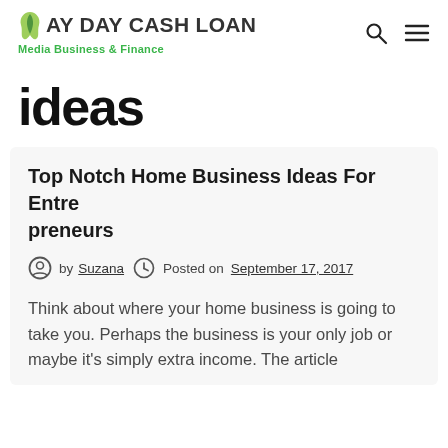PAY DAY CASH LOAN — Media Business & Finance
ideas
Top Notch Home Business Ideas For Entrepreneurs
by Suzana  Posted on September 17, 2017
Think about where your home business is going to take you. Perhaps the business is your only job or maybe it's simply extra income. The article